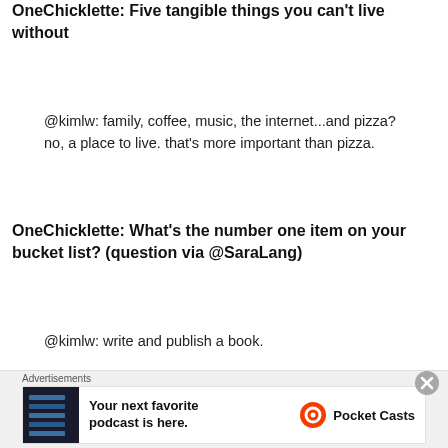OneChicklette: Five tangible things you can't live without
@kimlw: family, coffee, music, the internet...and pizza? no, a place to live. that's more important than pizza.
OneChicklette: What's the number one item on your bucket list? (question via @SaraLang)
@kimlw: write and publish a book.
[Figure (photo): Photo of the top of a historic tower or building with ornate architecture against a purple-tinted cloudy sky]
Advertisements
[Figure (other): Pocket Casts advertisement: Your next favorite podcast is here.]